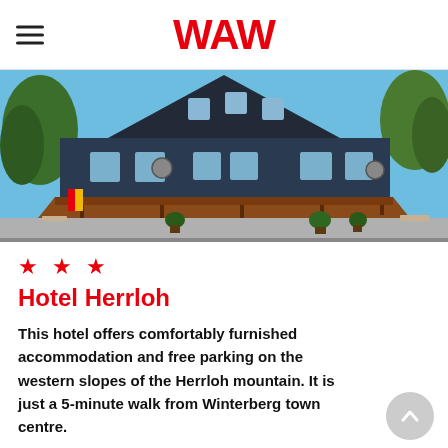WAW
[Figure (photo): Exterior photo of Hotel Herrloh, a dark-colored multi-story building with a steep triangular roof, brown awning over the ground floor terrace, set against a blue sky with trees on either side.]
★ ★ ★
Hotel Herrloh
This hotel offers comfortably furnished accommodation and free parking on the western slopes of the Herrloh mountain. It is just a 5-minute walk from Winterberg town centre.